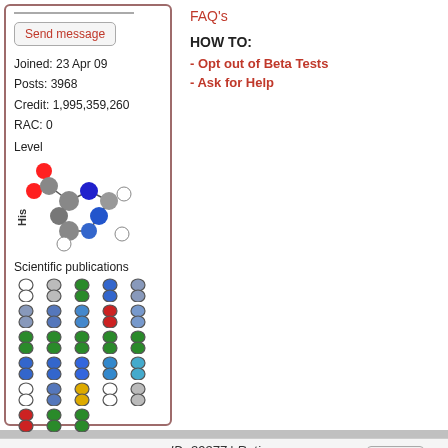[Figure (illustration): Profile avatar image showing a stylized DNA/protein structure with red and blue colors]
Send message
Joined: 23 Apr 09
Posts: 3968
Credit: 1,995,359,260
RAC: 0
Level
[Figure (illustration): Molecular structure diagram labeled 'His' showing amino acid histidine with colored spheres (red, blue, gray, white)]
Scientific publications
[Figure (illustration): Grid of scientific publication badge icons, 5 columns x 5 rows, showing various colored shield/badge symbols]
FAQ's
HOW TO:
- Opt out of Beta Tests
- Ask for Help
ID: 30377 | Rating: 0 | rate: [+] / [-][x]
Reply
Qu